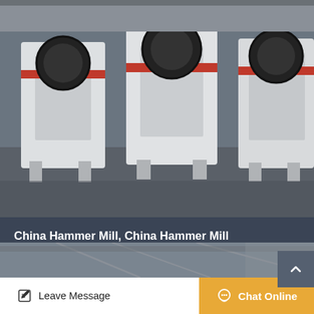[Figure (photo): Industrial hammer mill machines in a factory, large white metal machinery with red trim and black flywheels arranged in a row on a concrete floor]
China Hammer Mill, China Hammer Mill Manufacturers
China hammer mill select 2021 high quality china hammer mill products in best price from certified chinese hammer mill crushe…
Apr_18
Get Price
[Figure (photo): Industrial interior of a factory or warehouse showing metal structures and equipment]
Leave Message
Chat Online